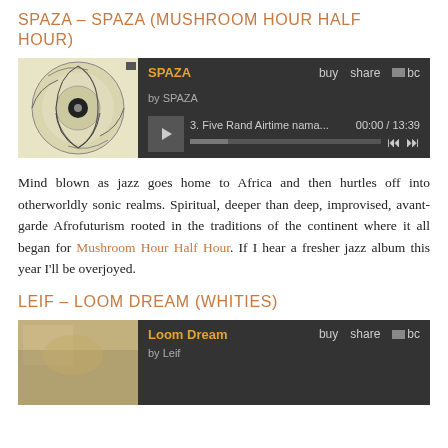SPAZA – SPAZA (MUSHROOM HOUR HALF HOUR)
[Figure (screenshot): Bandcamp music player widget showing SPAZA album with album art and player controls. Track: 3. Five Rand Airtime nama... 00:00 / 13:39]
Mind blown as jazz goes home to Africa and then hurtles off into otherworldly sonic realms. Spiritual, deeper than deep, improvised, avant-garde Afrofuturism rooted in the traditions of the continent where it all began for Mushroom Hour Half Hour. If I hear a fresher jazz album this year I'll be overjoyed.
LEIF – LOOM DREAM (WHITIES)
[Figure (screenshot): Bandcamp music player widget showing Loom Dream album by Leif with album art (yellowed/sepia photograph) and player controls.]